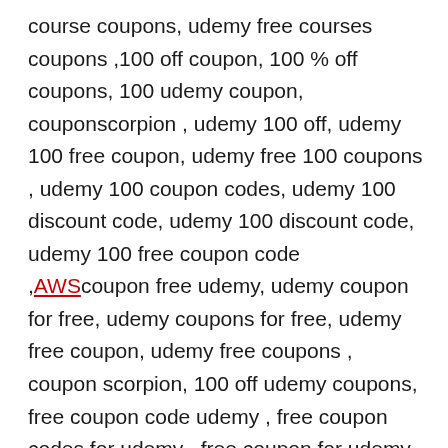course coupons, udemy free courses coupons ,100 off coupon, 100 % off coupons, 100 udemy coupon, couponscorpion , udemy 100 off, udemy 100 free coupon, udemy free 100 coupons , udemy 100 coupon codes, udemy 100 discount code, udemy 100 discount code, udemy 100 free coupon code ,AWScoupon free udemy, udemy coupon for free, udemy coupons for free, udemy free coupon, udemy free coupons , coupon scorpion, 100 off udemy coupons, free coupon code udemy , free coupon codes for udemy , free coupon for udemy course, free coupons for udemy courses, free course coupon udemy, free udemy course coupon, free udemy courses coupon, free udemy courses coupons, udemy 100 off coupon, udemy coupon 100 off, udemy coupons 100 off, udemy courses free coupon, udemy free